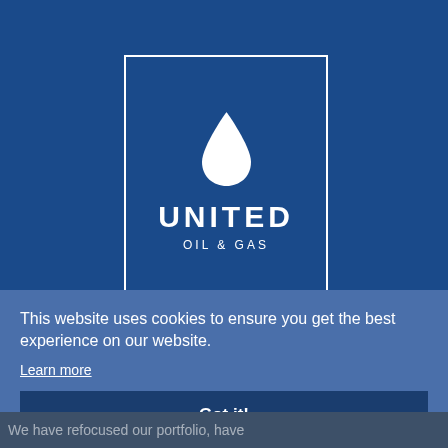[Figure (logo): United Oil & Gas logo: white water drop icon above UNITED text and OIL & GAS subtitle, in a white-bordered box on dark blue background]
ABOUT US
OPERATIONS
RESPONSIBILITY
INVESTORS
This website uses cookies to ensure you get the best experience on our website.
Learn more
Got it!
We have refocused our portfolio, have